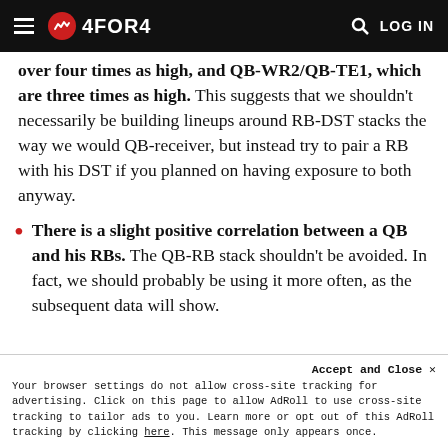4FOR4 — navigation bar with hamburger menu, logo, search and LOG IN
over four times as high, and QB-WR2/QB-TE1, which are three times as high. This suggests that we shouldn't necessarily be building lineups around RB-DST stacks the way we would QB-receiver, but instead try to pair a RB with his DST if you planned on having exposure to both anyway.
There is a slight positive correlation between a QB and his RBs. The QB-RB stack shouldn't be avoided. In fact, we should probably be using it more often, as the subsequent data will show.
Accept and Close ✕
Your browser settings do not allow cross-site tracking for advertising. Click on this page to allow AdRoll to use cross-site tracking to tailor ads to you. Learn more or opt out of this AdRoll tracking by clicking here. This message only appears once.